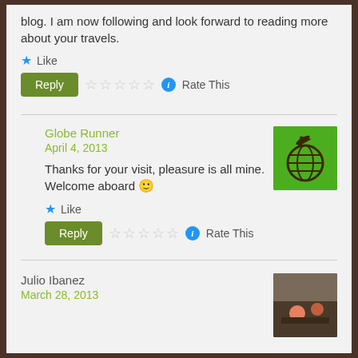blog. I am now following and look forward to reading more about your travels.
★ Like
Reply ☆☆☆☆☆ ⓘ Rate This
Globe Runner
April 4, 2013
Thanks for your visit, pleasure is all mine. Welcome aboard 🙂
★ Like
Reply ☆☆☆☆☆ ⓘ Rate This
Julio Ibanez
March 28, 2013